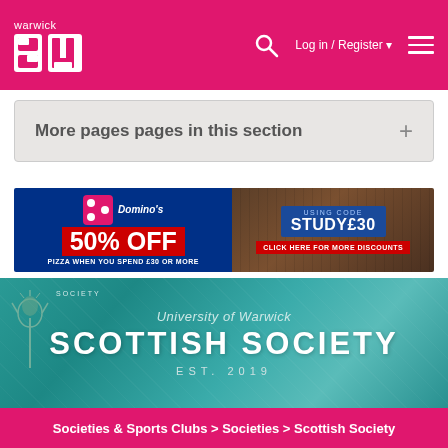warwick SU — Log in / Register
More pages pages in this section +
[Figure (infographic): Domino's advertisement banner: 50% OFF pizza when you spend £30 or more, using code STUDY£30. Click here for more discounts.]
[Figure (infographic): University of Warwick Scottish Society banner with teal/turquoise textured background. Text reads: University of Warwick, SCOTTISH SOCIETY, EST. 2019]
Societies & Sports Clubs > Societies > Scottish Society